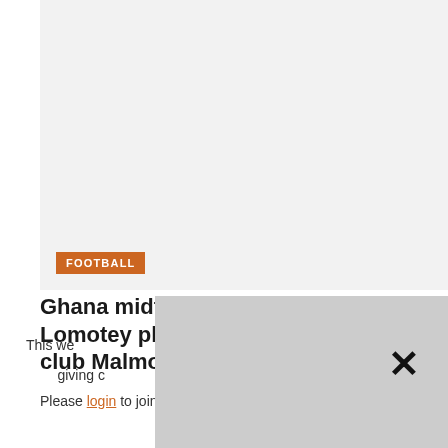[Figure (photo): Light gray placeholder image area at the top of the page]
FOOTBALL
Ghana midfielder Emmanuel Lomotey pleased with debut for new club Malmo
Please login to join discussion
This web[site uses cookies. By continuing to use the site] you are giving c[onsent to cookies being used. For information on cookies see our] Cookie [Policy]